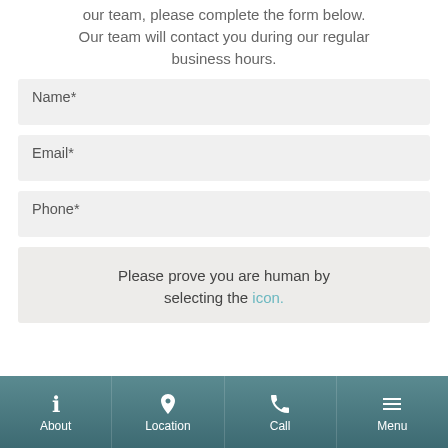our team, please complete the form below. Our team will contact you during our regular business hours.
Name*
Email*
Phone*
Please prove you are human by selecting the icon.
About  Location  Call  Menu